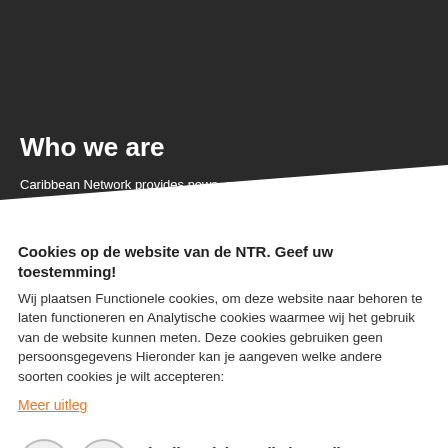Who we are
Caribbean Network provides news, current affairs and background information on Aruba, Bonaire, Curacao, Saba, St. Eustatius and St.
Cookies op de website van de NTR. Geef uw toestemming!
Wij plaatsen Functionele cookies, om deze website naar behoren te laten functioneren en Analytische cookies waarmee wij het gebruik van de website kunnen meten. Deze cookies gebruiken geen persoonsgegevens Hieronder kan je aangeven welke andere soorten cookies je wilt accepteren:
Meer uitleg
Ik wil Sociale Media koppelingen: